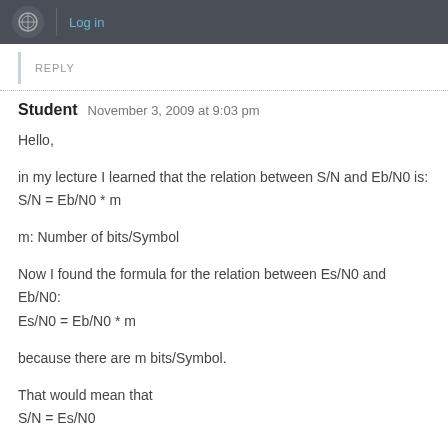Log in
REPLY
Student   November 3, 2009 at 9:03 pm
Hello,
in my lecture I learned that the relation between S/N and Eb/N0 is:
S/N = Eb/N0 * m
m: Number of bits/Symbol
Now I found the formula for the relation between Es/N0 and Eb/N0:
Es/N0 = Eb/N0 * m
because there are m bits/Symbol.
That would mean that
S/N = Es/N0